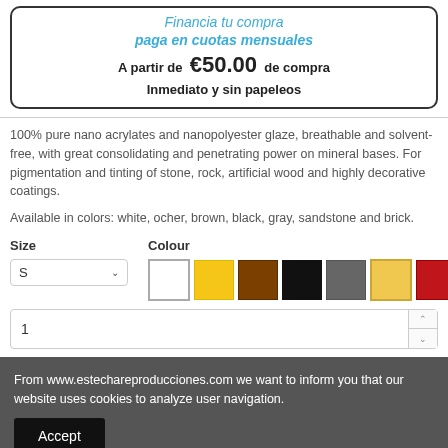Financia tu compra
paga en cuotas mensuales
A partir de €50.00 de compra
Inmediato y sin papeleos
100% pure nano acrylates and nanopolyester glaze, breathable and solvent-free, with great consolidating and penetrating power on mineral bases. For pigmentation and tinting of stone, rock, artificial wood and highly decorative coatings.
Available in colors: white, ocher, brown, black, gray, sandstone and brick.
Size
Colour
1
From www.estechareproducciones.com we want to inform you that our website uses cookies to analyze user navigation.
Accept
Colored glazes  Pigmentation  Breathable glazes